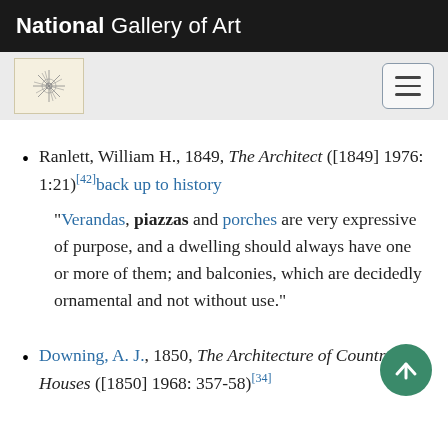National Gallery of Art
Ranlett, William H., 1849, The Architect ([1849] 1976: 1:21)[42] back up to history

"Verandas, piazzas and porches are very expressive of purpose, and a dwelling should always have one or more of them; and balconies, which are decidedly ornamental and not without use."
Downing, A. J., 1850, The Architecture of Country Houses ([1850] 1968: 357-58) [34]